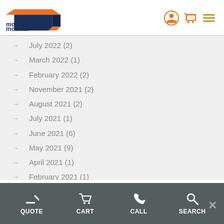mobile modular [logo with navigation icons]
July 2022 (2)
March 2022 (1)
February 2022 (2)
November 2021 (2)
August 2021 (2)
July 2021 (1)
June 2021 (6)
May 2021 (9)
April 2021 (1)
February 2021 (1)
December 2020 (1)
October 2020 (1)
September 2020 (2)
QUOTE  CART  CALL  SEARCH